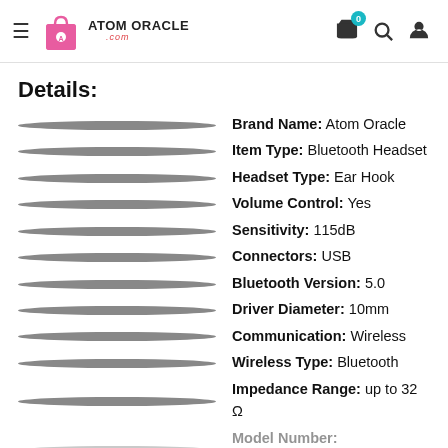Atom Oracle – Navigation header with logo, cart (0), search, and account icons
Details:
Brand Name: Atom Oracle
Item Type: Bluetooth Headset
Headset Type: Ear Hook
Volume Control: Yes
Sensitivity: 115dB
Connectors: USB
Bluetooth Version: 5.0
Driver Diameter: 10mm
Communication: Wireless
Wireless Type: Bluetooth
Impedance Range: up to 32 Ω
Model Number: FMH6718WEB4